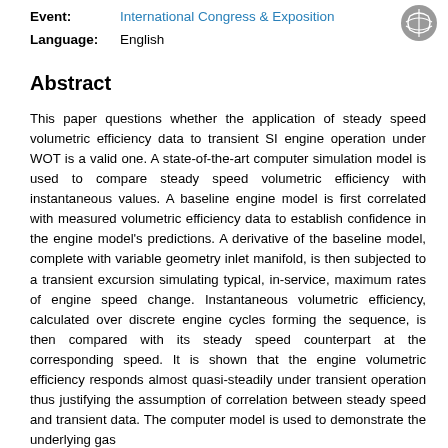Event: International Congress & Exposition
Language: English
Abstract
This paper questions whether the application of steady speed volumetric efficiency data to transient SI engine operation under WOT is a valid one. A state-of-the-art computer simulation model is used to compare steady speed volumetric efficiency with instantaneous values. A baseline engine model is first correlated with measured volumetric efficiency data to establish confidence in the engine model's predictions. A derivative of the baseline model, complete with variable geometry inlet manifold, is then subjected to a transient excursion simulating typical, in-service, maximum rates of engine speed change. Instantaneous volumetric efficiency, calculated over discrete engine cycles forming the sequence, is then compared with its steady speed counterpart at the corresponding speed. It is shown that the engine volumetric efficiency responds almost quasi-steadily under transient operation thus justifying the assumption of correlation between steady speed and transient data. The computer model is used to demonstrate the underlying gas